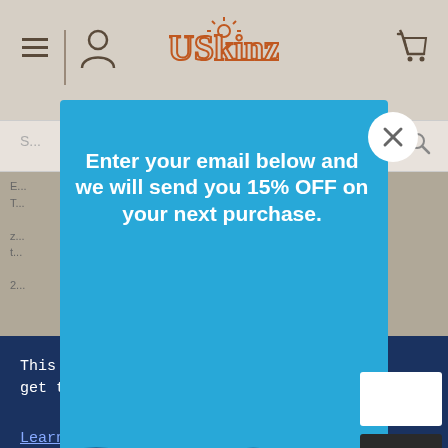[Figure (screenshot): Website screenshot showing USkinz website header with hamburger menu, person icon, logo, and cart icon, with a search bar below and partially visible body text]
[Figure (screenshot): Email signup popup modal with cyan/blue background showing text 'Enter your email below and we will send you 15% OFF on your next purchase.' with a white close (X) button in top-right corner]
Enter your email below and we will send you 15% OFF on your next purchase.
[Figure (screenshot): Cookie consent banner with dark navy background containing cookie notice text, Learn More link, and ACCEPT button]
This website uses cookies to ensure you get the best possible visitor experience.
Learn More
ACCEPT